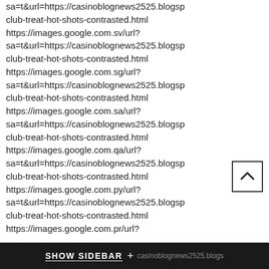sa=t&url=https://casinoblognews2525.blogsp club-treat-hot-shots-contrasted.html https://images.google.com.sv/url? sa=t&url=https://casinoblognews2525.blogsp club-treat-hot-shots-contrasted.html https://images.google.com.sg/url? sa=t&url=https://casinoblognews2525.blogsp club-treat-hot-shots-contrasted.html https://images.google.com.sa/url? sa=t&url=https://casinoblognews2525.blogsp club-treat-hot-shots-contrasted.html https://images.google.com.qa/url? sa=t&url=https://casinoblognews2525.blogsp club-treat-hot-shots-contrasted.html https://images.google.com.py/url? sa=t&url=https://casinoblognews2525.blogsp club-treat-hot-shots-contrasted.html https://images.google.com.pr/url? sa=t&url=https://casinoblognews2525.blogsp club-treat-hot-shots-contrasted.html https://images.google.com.pk/url?
SHOW SIDEBAR +